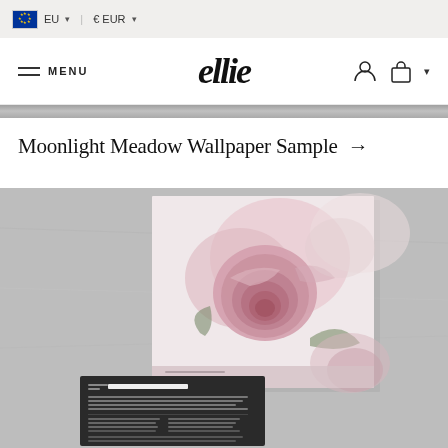EU  € EUR
ellie — MENU
Moonlight Meadow Wallpaper Sample →
[Figure (photo): Product photo showing wallpaper sample with large pink rose floral print and a dark information card labeled 'Rose Decor Wallpaper', placed on a gray concrete surface.]